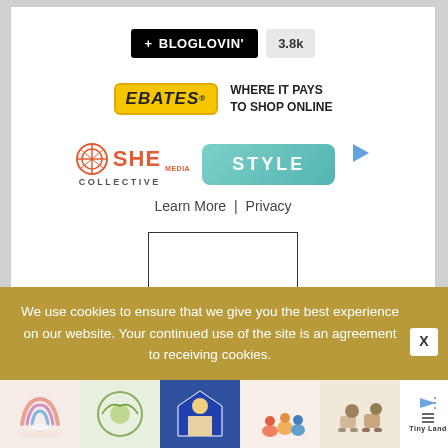[Figure (logo): Bloglovin badge with count 3.8k]
[Figure (logo): Ebates logo with tagline WHERE IT PAYS TO SHOP ONLINE]
[Figure (logo): SHE Media Collective STYLE button with Learn More | Privacy links]
[Figure (other): Empty white box with border]
We use cookies to ensure that we give you the best experience on our website. Your continued use of the site is an agreement to receiving cookies.
[Figure (photo): Bottom ad strip with images of rainbow, wreath, tent, figures, toys, and Tiny Land logo]